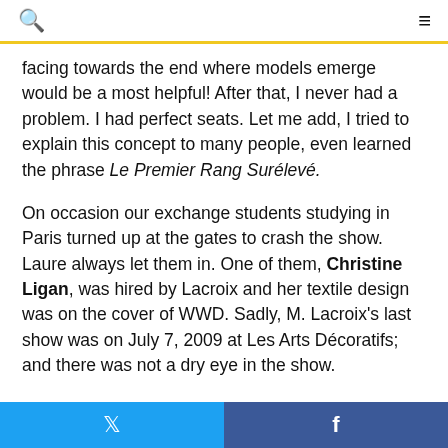🔍 ≡
facing towards the end where models emerge would be a most helpful! After that, I never had a problem. I had perfect seats. Let me add, I tried to explain this concept to many people, even learned the phrase Le Premier Rang Surélevé.
On occasion our exchange students studying in Paris turned up at the gates to crash the show. Laure always let them in. One of them, Christine Ligan, was hired by Lacroix and her textile design was on the cover of WWD. Sadly, M. Lacroix's last show was on July 7, 2009 at Les Arts Décoratifs; and there was not a dry eye in the show.
Follow the jump to read more.
In 2010, Laure du Pavillon opened her own agency Cœur d'entreprise with two main objectives: transmission of
🐦   f